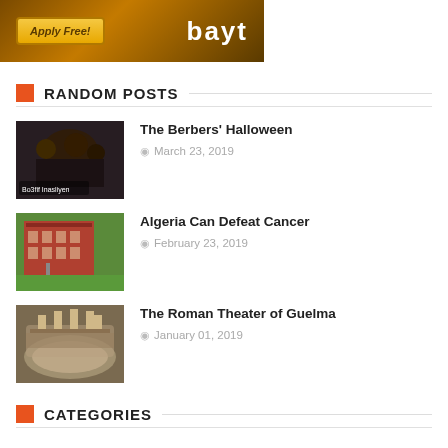[Figure (illustration): Bayt.com banner ad with 'Apply Free!' button on dark golden/brown background with Bayt logo in white]
RANDOM POSTS
[Figure (photo): Dark cave or night scene with costumed figures, text overlay 'Bo3fif Inasliyen']
The Berbers' Halloween
March 23, 2019
[Figure (photo): Red brick institutional building with flagpole, green lawn]
Algeria Can Defeat Cancer
February 23, 2019
[Figure (photo): Aerial view of the Roman Theater of Guelma, ancient ruins with semicircular seating]
The Roman Theater of Guelma
January 01, 2019
CATEGORIES